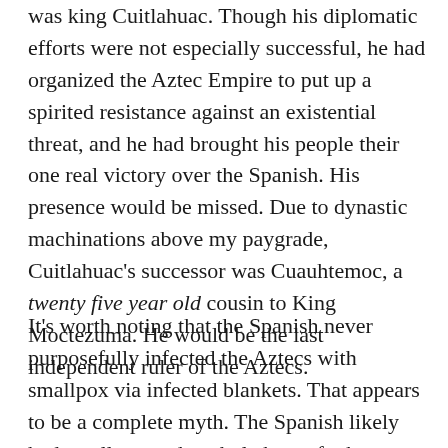was king Cuitlahuac. Though his diplomatic efforts were not especially successful, he had organized the Aztec Empire to put up a spirited resistance against an existential threat, and he had brought his people their one real victory over the Spanish. His presence would be missed. Due to dynastic machinations above my paygrade, Cuitlahuac's successor was Cuauhtemoc, a twenty five year old cousin to King Moctezuma. He would be the last independent ruler of the Aztecs.
It's worth noting that the Spanish never purposefully infected the Aztecs with smallpox via infected blankets. That appears to be a complete myth. The Spanish likely had smallpox and a whole host of other highly infectious